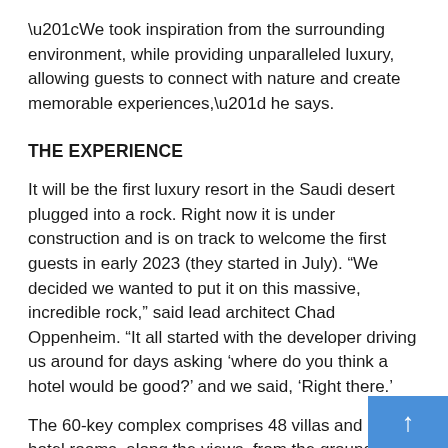“We took inspiration from the surrounding environment, while providing unparalleled luxury, allowing guests to connect with nature and create memorable experiences,” he says.
THE EXPERIENCE
It will be the first luxury resort in the Saudi desert plugged into a rock. Right now it is under construction and is on track to welcome the first guests in early 2023 (they started in July). “We decided we wanted to put it on this massive, incredible rock,” said lead architect Chad Oppenheim. “It all started with the developer driving us around for days asking ‘where do you think a hotel would be good?’ and we said, ‘Right there.’
The 60-key complex comprises 48 villas and 12 hotel rooms, along the views, from the ground floor to the middle of the mountain. Many suites are dug directly into the rock mass. With state-of-the-art facilities including a world-class spa and fitness center, there are private dining rooms and a lagoon oasis. All